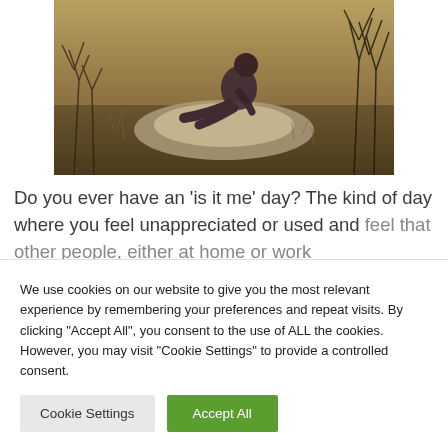[Figure (photo): A person sitting on rocky ground outdoors, looking at a phone or book, with dry scrubby vegetation in background, warm golden-toned light, moody artistic photo.]
Do you ever have an 'is it me' day? The kind of day where you feel unappreciated or used and feel that other people, either at home or work
We use cookies on our website to give you the most relevant experience by remembering your preferences and repeat visits. By clicking "Accept All", you consent to the use of ALL the cookies. However, you may visit "Cookie Settings" to provide a controlled consent.